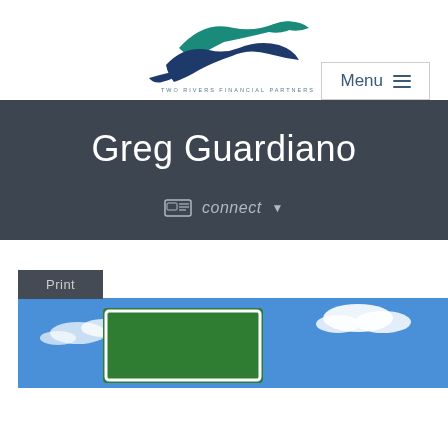[Figure (logo): Two Rivers Financial Partners logo with stylized river/bird graphic in teal and dark blue, with text 'TWO RIVERS FINANCIAL PARTNERS' below]
Menu ≡
Greg Guardiano
connect ▼
Print
[Figure (photo): Green road sign against a blue sky with white clouds]